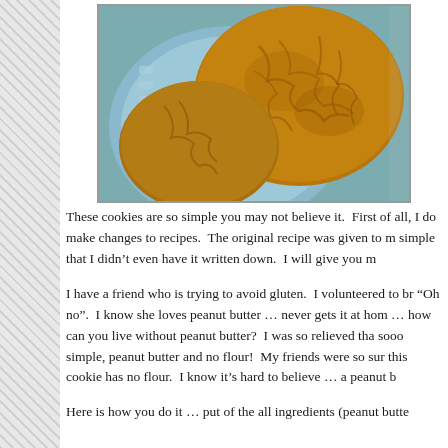[Figure (photo): Photograph of peanut butter cookies on a blue plate, showing crinkled golden-brown cookies with a cross-hatch pattern, cropped close-up view.]
These cookies are so simple you may not believe it.  First of all, I do make changes to recipes.  The original recipe was given to m[e and it was so] simple that I didn't even have it written down.  I will give you m[y version].
I have a friend who is trying to avoid gluten.  I volunteered to br[ing something and she said] "Oh no".  I know she loves peanut butter … never gets it at hom[e …] … how can you live without peanut butter?  I was so relieved tha[t this recipe is] sooo simple, peanut butter and no flour!  My friends were so sur[prised to find out] this cookie has no flour.  I know it's hard to believe … a peanut b[utter cookie with no flour].
Here is how you do it … put of the all ingredients (peanut butte[r …]